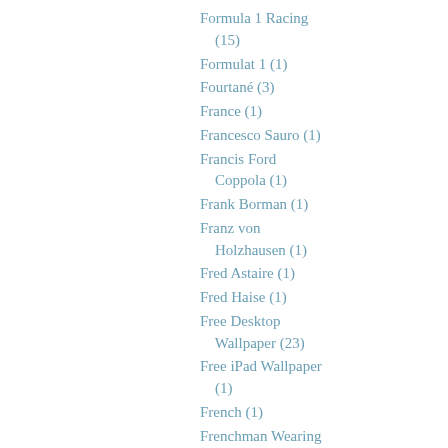Formula 1 Racing (15)
Formulat 1 (1)
Fourtané (3)
France (1)
Francesco Sauro (1)
Francis Ford Coppola (1)
Frank Borman (1)
Franz von Holzhausen (1)
Fred Astaire (1)
Fred Haise (1)
Free Desktop Wallpaper (23)
Free iPad Wallpaper (1)
French (1)
Frenchman Wearing Rolex (15)
From Time To Time…